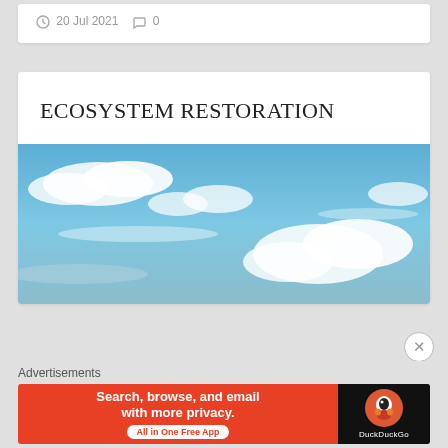20 Jul 2021   0
ECOSYSTEM RESTORATION
[Figure (photo): Sky photograph showing blue sky with scattered white clouds, wide-angle view]
Advertisements
Search, browse, and email with more privacy. All in One Free App — DuckDuckGo